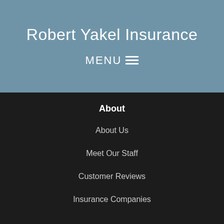Robert Yakel Insurance
MENU ☰
About
About Us
Meet Our Staff
Customer Reviews
Insurance Companies